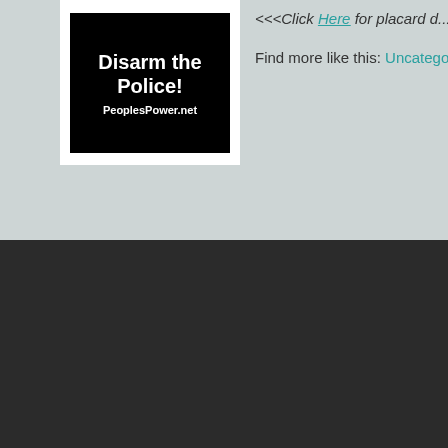[Figure (illustration): Black placard image reading 'Disarm the Police!' with 'PeoplesPower.net' below, white background card]
<<<Click Here for placard d...
Find more like this: Uncategorized
Building Pe...
info@peoplespo...